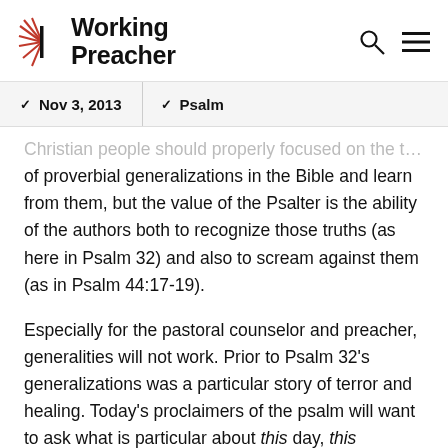Working Preacher
Nov 3, 2013   Psalm
Christian people should properly focused on the truth of proverbial generalizations in the Bible and learn from them, but the value of the Psalter is the ability of the authors both to recognize those truths (as here in Psalm 32) and also to scream against them (as in Psalm 44:17-19).
Especially for the pastoral counselor and preacher, generalities will not work. Prior to Psalm 32’s generalizations was a particular story of terror and healing. Today’s proclaimers of the psalm will want to ask what is particular about this day, this